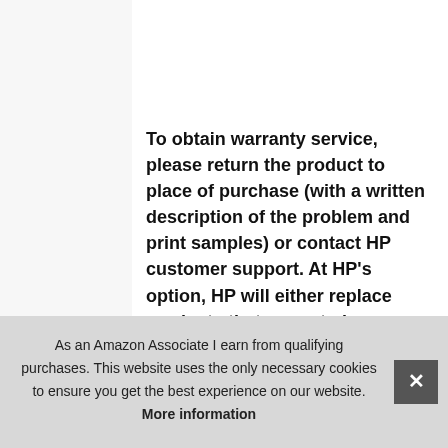|  |  |
| --- | --- |
| Warranty | To obtain warranty service, please return the product to place of purchase (with a written description of the problem and print samples) or contact HP customer support. At HP's option, HP will either replace products that prove to be defective or refund your purchase price. To the extent allowed by local law, the above warrant y is exclusive and no other warranty or condition, whether written or oral, is expressed or implied and HP specifically disclaims any implied warranties or conditions of merchantability, satisfactory quality, and fitness for a particular purpose. To the extent allowed by local law, in no event |
As an Amazon Associate I earn from qualifying purchases. This website uses the only necessary cookies to ensure you get the best experience on our website. More information